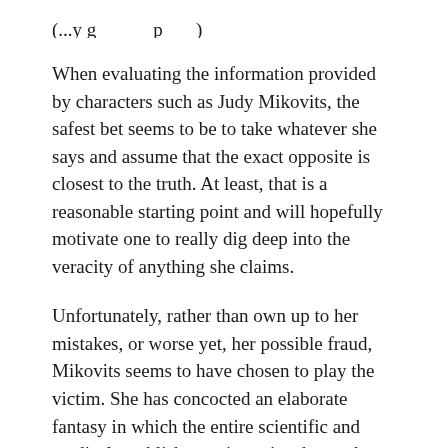(partial line clipped at top of page)
When evaluating the information provided by characters such as Judy Mikovits, the safest bet seems to be to take whatever she says and assume that the exact opposite is closest to the truth. At least, that is a reasonable starting point and will hopefully motivate one to really dig deep into the veracity of anything she claims.
Unfortunately, rather than own up to her mistakes, or worse yet, her possible fraud, Mikovits seems to have chosen to play the victim. She has concocted an elaborate fantasy in which the entire scientific and medical establishment is against her and working together in a vast conspiracy for the purposes of some kind of “corruption” (for which there is no evidence). She has fallen in with other disreputable characters, such as the disgraced Andrew Wakefield, and she has found a